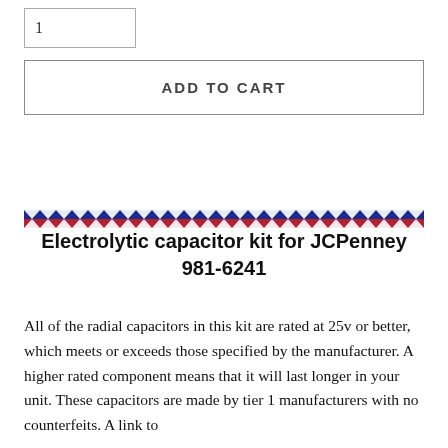[Figure (other): Quantity input box showing partial number '1']
ADD TO CART
[Figure (illustration): Patriotic decorative banner with red, white, and blue zigzag/bunting pattern]
Electrolytic capacitor kit for JCPenney 981-6241
All of the radial capacitors in this kit are rated at 25v or better, which meets or exceeds those specified by the manufacturer. A higher rated component means that it will last longer in your unit. These capacitors are made by tier 1 manufacturers with no counterfeits. A link to